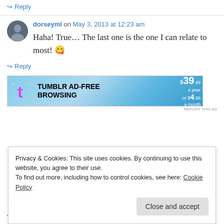↪ Reply
dorseyml on May 3, 2013 at 12:23 am
Haha! True… The last one is the one I can relate to most! 😉
↪ Reply
[Figure (screenshot): Tumblr Ad-Free Browsing advertisement banner showing $39 a year or $4.99 a month]
REPORT THIS AD
Privacy & Cookies: This site uses cookies. By continuing to use this website, you agree to their use.
To find out more, including how to control cookies, see here: Cookie Policy
Close and accept
There is NOTHING wrong with ok, but they are